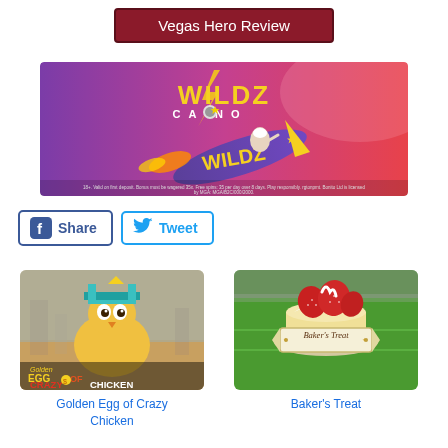Vegas Hero Review
[Figure (illustration): Wildz Casino promotional banner showing a person riding a rocket-shaped pencil with WILDZ text, purple and pink gradient background. Fine print at bottom about bonus terms.]
[Figure (illustration): Facebook Share button with Facebook logo icon and 'Share' text, blue border]
[Figure (illustration): Twitter Tweet button with Twitter bird icon and 'Tweet' text, blue border]
[Figure (illustration): Golden Egg of Crazy Chicken slot game thumbnail showing animated chicken character in Egyptian desert setting]
Golden Egg of Crazy Chicken
[Figure (illustration): Baker's Treat slot game thumbnail showing a strawberry cake on a plate with Baker's Treat logo]
Baker's Treat